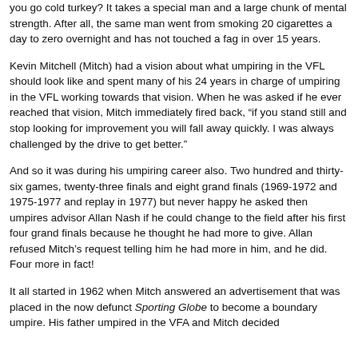you go cold turkey? It takes a special man and a large chunk of mental strength. After all, the same man went from smoking 20 cigarettes a day to zero overnight and has not touched a fag in over 15 years.
Kevin Mitchell (Mitch) had a vision about what umpiring in the VFL should look like and spent many of his 24 years in charge of umpiring in the VFL working towards that vision. When he was asked if he ever reached that vision, Mitch immediately fired back, “if you stand still and stop looking for improvement you will fall away quickly. I was always challenged by the drive to get better.”
And so it was during his umpiring career also. Two hundred and thirty-six games, twenty-three finals and eight grand finals (1969-1972 and 1975-1977 and replay in 1977) but never happy he asked then umpires advisor Allan Nash if he could change to the field after his first four grand finals because he thought he had more to give. Allan refused Mitch’s request telling him he had more in him, and he did. Four more in fact!
It all started in 1962 when Mitch answered an advertisement that was placed in the now defunct Sporting Globe to become a boundary umpire. His father umpired in the VFA and Mitch decided